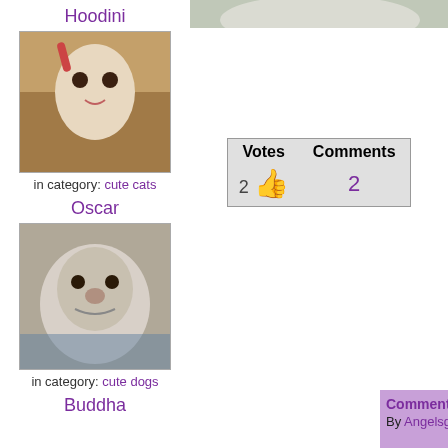Hoodini
[Figure (photo): Photo of a cat named Hoodini lying on its back on a textured surface]
in category: cute cats
Oscar
[Figure (photo): Photo of a dog named Oscar, a fluffy white/grey dog looking up]
in category: cute dogs
Buddha
| Votes | Comments |
| --- | --- |
| 2 👍 | 2 |
Comments for Oreo
By Angelsgivewings  ahhhhhhhhhhh cutesttt c...